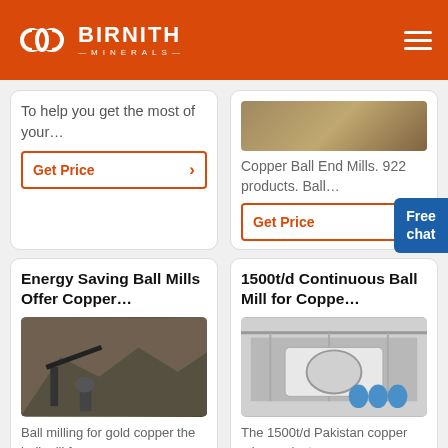BIRNITH MINERALS
To help you get the most of your…
Get Price
[Figure (photo): Partial image of copper ball end mills product]
Copper Ball End Mills. 922 products. Ball…
Get Price
Energy Saving Ball Mills Offer Copper…
[Figure (photo): Mining site with conveyor belt machinery in rocky terrain]
Ball milling for gold copper the ball mill f
1500t/d Continuous Ball Mill for Coppe…
[Figure (photo): Industrial ball mill equipment in a factory warehouse with blue barrels]
The 1500t/d Pakistan copper mine project